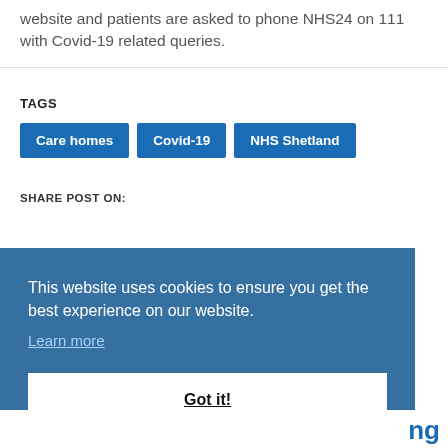website and patients are asked to phone NHS24 on 111 with Covid-19 related queries.
TAGS
Care homes
Covid-19
NHS Shetland
SHARE POST ON:
This website uses cookies to ensure you get the best experience on our website. Learn more
Got it!